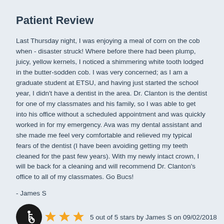Patient Review
Last Thursday night, I was enjoying a meal of corn on the cob when - disaster struck! Where before there had been plump, juicy, yellow kernels, I noticed a shimmering white tooth lodged in the butter-sodden cob. I was very concerned; as I am a graduate student at ETSU, and having just started the school year, I didn't have a dentist in the area. Dr. Clanton is the dentist for one of my classmates and his family, so I was able to get into his office without a scheduled appointment and was quickly worked in for my emergency. Ava was my dental assistant and she made me feel very comfortable and relieved my typical fears of the dentist (I have been avoiding getting my teeth cleaned for the past few years). With my newly intact crown, I will be back for a cleaning and will recommend Dr. Clanton's office to all of my classmates. Go Bucs!
- James S
5 out of 5 stars by James S on 09/02/2018